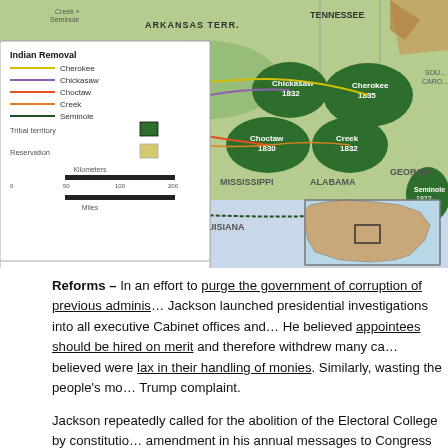[Figure (map): Map of Indian Removal routes showing Cherokee, Chickasaw, Choctaw, Creek, and Seminole removal paths from the southeastern United States to Indian Territory (Arkansas Territory), with a legend showing tribal territories and reservations, and an inset locator map of North America.]
Reforms – In an effort to purge the government of corruption of previous adminis... Jackson launched presidential investigations into all executive Cabinet offices and... He believed appointees should be hired on merit and therefore withdrew many ca... believed were lax in their handling of monies. Similarly, wasting the people's mo... Trump complaint.
Jackson repeatedly called for the abolition of the Electoral College by constitutio... amendment in his annual messages to Congress as President. Also for limiting the...